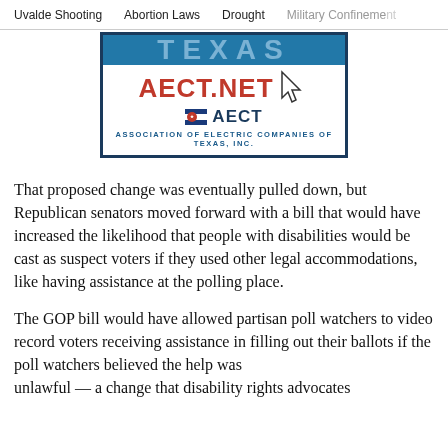Uvalde Shooting    Abortion Laws    Drought    Military Confinement
[Figure (logo): AECT.NET advertisement banner — Association of Electric Companies of Texas, Inc. logo with red AECT.NET text, Texas flag icon, blue AECT lettering, and cursor icon]
That proposed change was eventually pulled down, but Republican senators moved forward with a bill that would have increased the likelihood that people with disabilities would be cast as suspect voters if they used other legal accommodations, like having assistance at the polling place.
The GOP bill would have allowed partisan poll watchers to video record voters receiving assistance in filling out their ballots if the poll watchers believed the help was unlawful — a change that disability rights advocates...